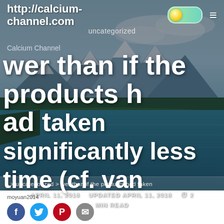http://calcium-channel.com
uncategorized
Calcium Channel
wer than if the products had taken significantly less time (cf. van
APRIL 11, 2018   UPDATED APRIL 11, 2018   2 MIN READ
⌂ > uncategorized > wer than if the products had taken
moyuan2014
[Figure (screenshot): Website screenshot showing calcium-channel.com blog post hero image with mountain/lake landscape background]